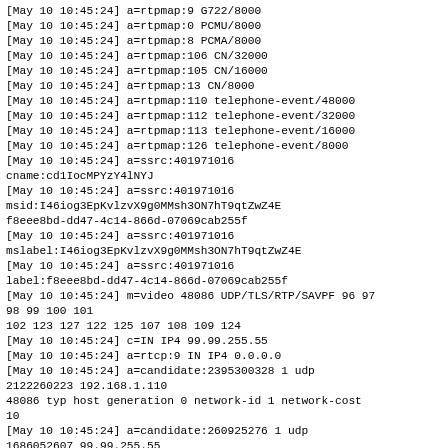[May 10 10:45:24] a=rtpmap:9 G722/8000
[May 10 10:45:24] a=rtpmap:0 PCMU/8000
[May 10 10:45:24] a=rtpmap:8 PCMA/8000
[May 10 10:45:24] a=rtpmap:106 CN/32000
[May 10 10:45:24] a=rtpmap:105 CN/16000
[May 10 10:45:24] a=rtpmap:13 CN/8000
[May 10 10:45:24] a=rtpmap:110 telephone-event/48000
[May 10 10:45:24] a=rtpmap:112 telephone-event/32000
[May 10 10:45:24] a=rtpmap:113 telephone-event/16000
[May 10 10:45:24] a=rtpmap:126 telephone-event/8000
[May 10 10:45:24] a=ssrc:401971016
cname:cd1IocMPYzY4lNYJ
[May 10 10:45:24] a=ssrc:401971016
msid:I46iog3EpKvlzvX9g0MMsh3ON7hT9qtZwZ4E
f8eee8bd-dd47-4c14-866d-07069cab255f
[May 10 10:45:24] a=ssrc:401971016
mslabel:I46iog3EpKvlzvX9g0MMsh3ON7hT9qtZwZ4E
[May 10 10:45:24] a=ssrc:401971016
label:f8eee8bd-dd47-4c14-866d-07069cab255f
[May 10 10:45:24] m=video 48086 UDP/TLS/RTP/SAVPF 96 97
98 99 100 101
102 123 127 122 125 107 108 109 124
[May 10 10:45:24] c=IN IP4 99.99.255.55
[May 10 10:45:24] a=rtcp:9 IN IP4 0.0.0.0
[May 10 10:45:24] a=candidate:2395300328 1 udp
2122260223 192.168.1.110
48086 typ host generation 0 network-id 1 network-cost
10
[May 10 10:45:24] a=candidate:260925276 1 udp
1686052607 99.99.255.55
48086 typ srflx raddr 192.168.1.110 rport 48086